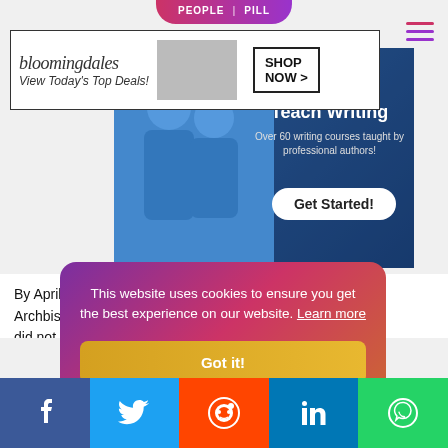[Figure (screenshot): People Pill tab at top of page]
[Figure (screenshot): Bloomingdales ad banner: View Today's Top Deals! SHOP NOW >]
[Figure (screenshot): Writing course banner: Authors Teach Writing. Over 60 writing courses taught by professional authors! Get Started!]
By April the P... our a Archbishop o... Libe did not have ... ion c peers. The Ki... disgu and that the ... ond a Lord ...
[Figure (screenshot): Cookie consent overlay: This website uses cookies to ensure you get the best experience on our website. Learn more. Got it!]
[Figure (screenshot): Social share bar with Facebook, Twitter, Reddit, LinkedIn, WhatsApp buttons]